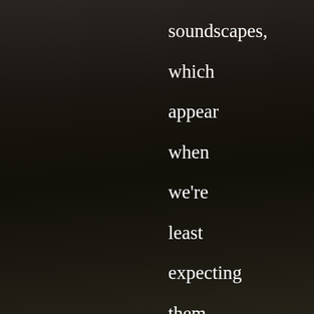[Figure (photo): Dark weathered wood planks background with horizontal grain texture, dimly lit with dark brown/black tones]
soundscapes, which appear when we're least expecting them. At fifteen tracks, this is a monstrous LP that offers plenty